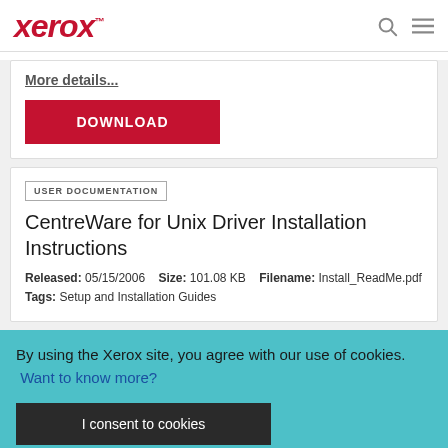xerox™
More details...
DOWNLOAD
USER DOCUMENTATION
CentreWare for Unix Driver Installation Instructions
Released: 05/15/2006   Size: 101.08 KB   Filename: Install_ReadMe.pdf
Tags: Setup and Installation Guides
By using the Xerox site, you agree with our use of cookies.   Want to know more?
I consent to cookies